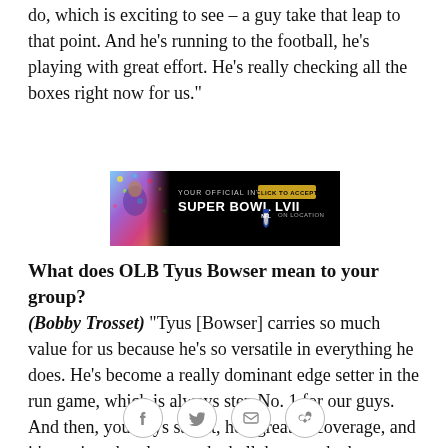do, which is exciting to see – a guy take that leap to that point. And he's running to the football, he's playing with great effort. He's really checking all the boxes right now for us."
[Figure (infographic): Advertisement banner: YOUR OFFICIAL INVITE TO SUPER BOWL LVII – CLICK TO ACCEPT – NFL ON LOCATION, with a woman in confetti on the left side against a dark background.]
What does OLB Tyus Bowser mean to your group?
(Bobby Trosset) "Tyus [Bowser] carries so much value for us because he's so versatile in everything he does. He's become a really dominant edge setter in the run game, which is always step No. 1 for our guys. And then, you guys saw it, he's great in coverage, and it's not just the plays on the ball, because he has tremendous ball skills – he's at an elite level there – but what he does that you may not always see is he takes